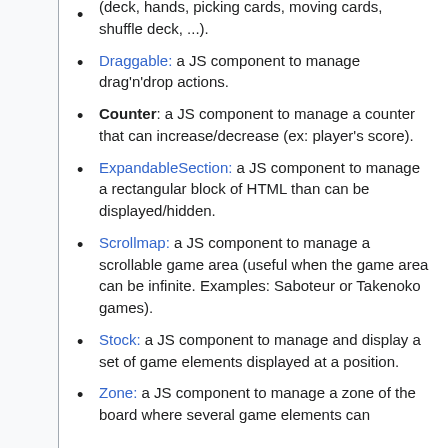(deck, hands, picking cards, moving cards, shuffle deck, ...).
Draggable: a JS component to manage drag'n'drop actions.
Counter: a JS component to manage a counter that can increase/decrease (ex: player's score).
ExpandableSection: a JS component to manage a rectangular block of HTML than can be displayed/hidden.
Scrollmap: a JS component to manage a scrollable game area (useful when the game area can be infinite. Examples: Saboteur or Takenoko games).
Stock: a JS component to manage and display a set of game elements displayed at a position.
Zone: a JS component to manage a zone of the board where several game elements can